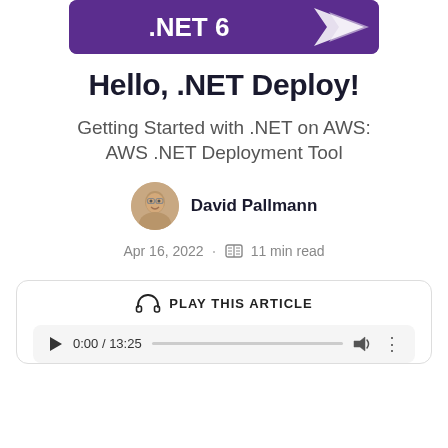[Figure (illustration): .NET 6 purple banner with logo and stylized arrow/comet graphic]
Hello, .NET Deploy!
Getting Started with .NET on AWS: AWS .NET Deployment Tool
[Figure (photo): Circular avatar photo of David Pallmann]
David Pallmann
Apr 16, 2022 · 11 min read
[Figure (other): Audio player widget with PLAY THIS ARTICLE label and playback controls showing 0:00 / 13:25]